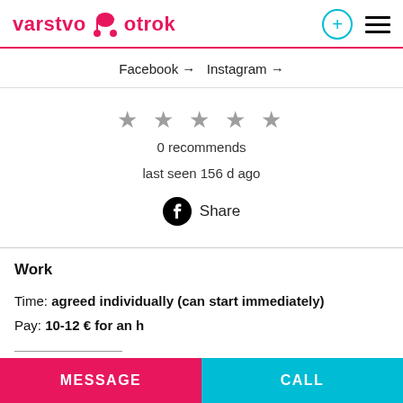varstvo otrok
Facebook → Instagram →
★ ★ ★ ★ ★
0 recommends
last seen 156 d ago
Share
Work
Time: agreed individually (can start immediately)
Pay: 10-12 € for an h
MESSAGE   CALL